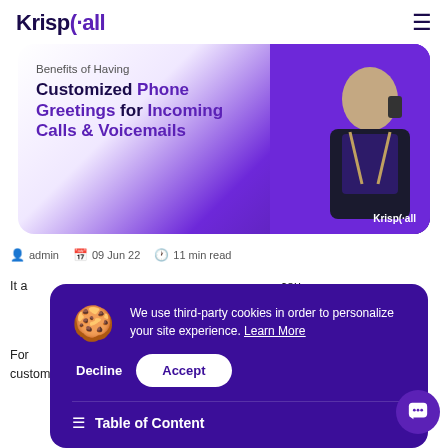KrispCall [hamburger menu]
[Figure (illustration): Hero banner image for KrispCall blog post with text: Benefits of Having Customized Phone Greetings for Incoming Calls & Voicemails, with a man talking on phone on right side, purple gradient background, KrispCall branding.]
admin   09 Jun 22   11 min read
It a... cou... .
For... customers re... nd greeting the... customers cordially can help businesses achieve that.
We use third-party cookies in order to personalize your site experience. Learn More
Decline   Accept
Table of Content